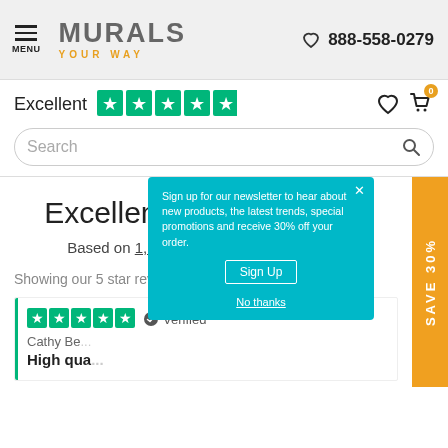MENU | MURALS YOUR WAY | 888-558-0279
Excellent ★★★★★
Search
Excellent ★★★★★
Based on 1,262 reviews on Trustpilot
SAVE 30%
Showing our 5 star reviews
★★★★★ ✓ Verified
Cathy Be...
High qua...
Sign up for our newsletter to hear about new products, the latest trends, special promotions and receive 30% off your order.
Sign Up
No thanks